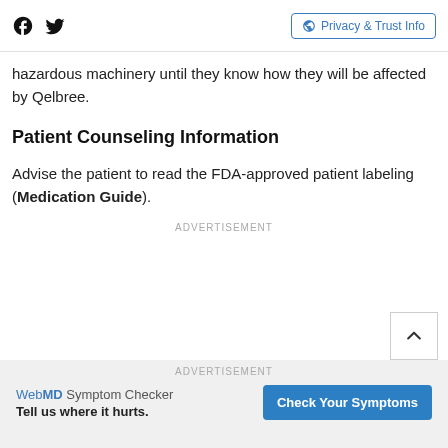Facebook Twitter | Privacy & Trust Info
hazardous machinery until they know how they will be affected by Qelbree.
Patient Counseling Information
Advise the patient to read the FDA-approved patient labeling (Medication Guide).
ADVERTISEMENT
ADVERTISEMENT
WebMD Symptom Checker Tell us where it hurts. Check Your Symptoms